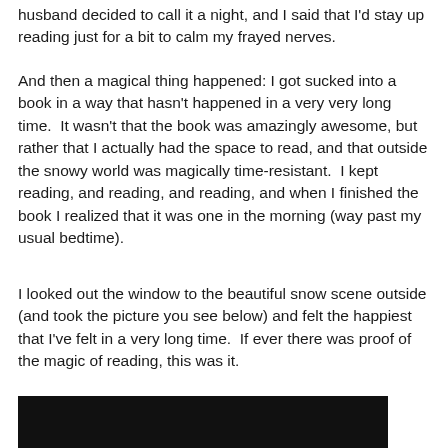husband decided to call it a night, and I said that I'd stay up reading just for a bit to calm my frayed nerves.
And then a magical thing happened: I got sucked into a book in a way that hasn't happened in a very very long time.  It wasn't that the book was amazingly awesome, but rather that I actually had the space to read, and that outside the snowy world was magically time-resistant.  I kept reading, and reading, and reading, and when I finished the book I realized that it was one in the morning (way past my usual bedtime).
I looked out the window to the beautiful snow scene outside (and took the picture you see below) and felt the happiest that I've felt in a very long time.  If ever there was proof of the magic of reading, this was it.
[Figure (photo): Dark nighttime snow scene photograph, partially visible at the bottom of the page]